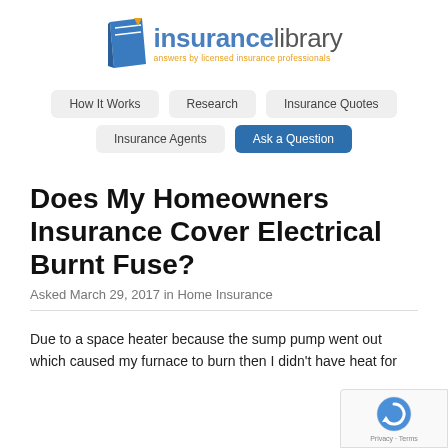[Figure (logo): Insurance Library logo — blue book icon with 'insurancelibrary' text in blue/gray and tagline 'answers by licensed insurance professionals' in orange]
How It Works | Research | Insurance Quotes | Insurance Agents | Ask a Question
Does My Homeowners Insurance Cover Electrical Burnt Fuse?
Asked March 29, 2017 in Home Insurance
Due to a space heater because the sump pump went out which caused my furnace to burn then I didn't have heat for